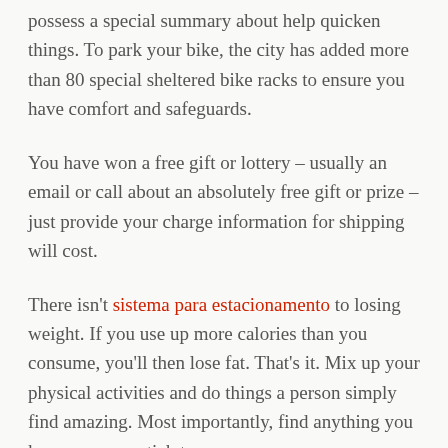possess a special summary about help quicken things. To park your bike, the city has added more than 80 special sheltered bike racks to ensure you have comfort and safeguards.
You have won a free gift or lottery – usually an email or call about an absolutely free gift or prize – just provide your charge information for shipping will cost.
There isn't sistema para estacionamento to losing weight. If you use up more calories than you consume, you'll then lose fat. That's it. Mix up your physical activities and do things a person simply find amazing. Most importantly, find anything you know you can stick to.